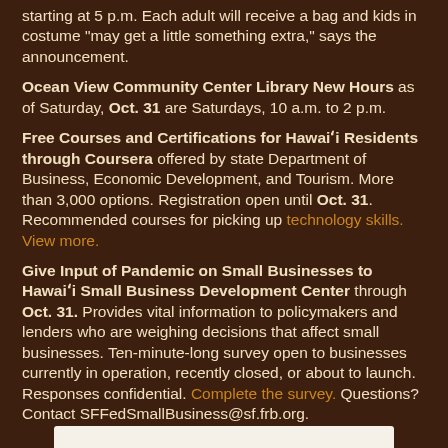starting at 5 p.m. Each adult will receive a bag and kids in costume "may get a little something extra," says the announcement.
Ocean View Community Center Library New Hours as of Saturday, Oct. 31 are Saturdays, 10 a.m. to 2 p.m.
Free Courses and Certifications for Hawaiʻi Residents through Coursera offered by state Department of Business, Economic Development, and Tourism. More than 3,000 options. Registration open until Oct. 31. Recommended courses for picking up technology skills. View more.
Give Input of Pandemic on Small Businesses to Hawaiʻi Small Business Development Center through Oct. 31. Provides vital information to policymakers and lenders who are weighing decisions that affect small businesses. Ten-minute-long survey open to businesses currently in operation, recently closed, or about to launch. Responses confidential. Complete the survey. Questions? Contact SFFedSmallBusiness@sf.frb.org.